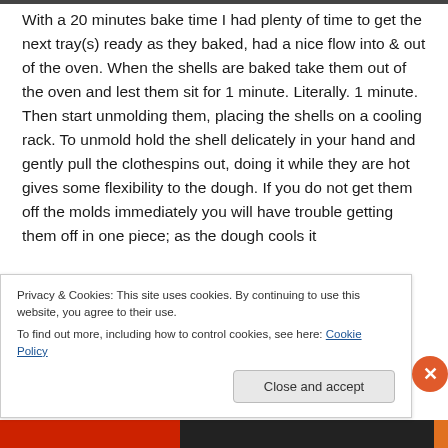With a 20 minutes bake time I had plenty of time to get the next tray(s) ready as they baked, had a nice flow into & out of the oven. When the shells are baked take them out of the oven and lest them sit for 1 minute. Literally. 1 minute. Then start unmolding them, placing the shells on a cooling rack. To unmold hold the shell delicately in your hand and gently pull the clothespins out, doing it while they are hot gives some flexibility to the dough. If you do not get them off the molds immediately you will have trouble getting them off in one piece; as the dough cools it
Privacy & Cookies: This site uses cookies. By continuing to use this website, you agree to their use.
To find out more, including how to control cookies, see here: Cookie Policy
Close and accept